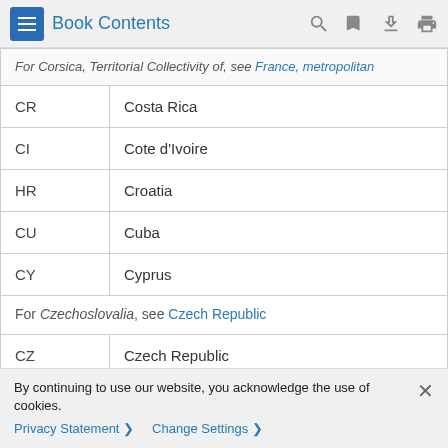Book Contents
| Code | Country |
| --- | --- |
|  | For Corsica, Territorial Collectivity of, see France, metropolitan |
| CR | Costa Rica |
| CI | Cote d'Ivoire |
| HR | Croatia |
| CU | Cuba |
| CY | Cyprus |
|  | For Czechoslovalia, see Czech Republic |
| CZ | Czech Republic
see also Slovakia |
|  |  |
By continuing to use our website, you acknowledge the use of cookies.
Privacy Statement > Change Settings >